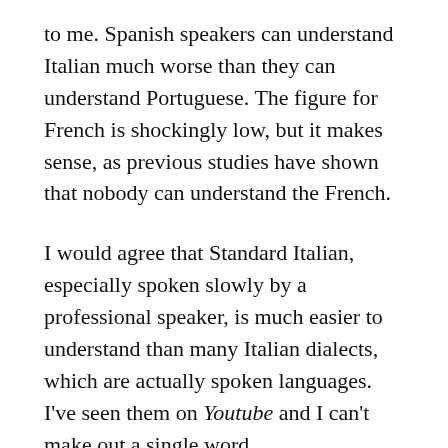to me. Spanish speakers can understand Italian much worse than they can understand Portuguese. The figure for French is shockingly low, but it makes sense, as previous studies have shown that nobody can understand the French.
I would agree that Standard Italian, especially spoken slowly by a professional speaker, is much easier to understand than many Italian dialects, which are actually spoken languages. I've seen them on Youtube and I can't make out a single word.
With my Spanish, my figures for written intelligibility of Romance are not as high as